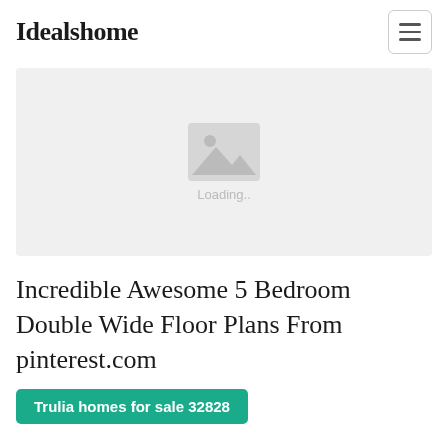Idealshome
[Figure (illustration): Image placeholder with mountain/photo icon and 'Loading..' text on grey background]
Incredible Awesome 5 Bedroom Double Wide Floor Plans From pinterest.com
Trulia homes for sale 32828